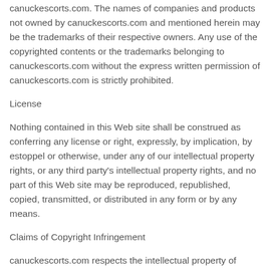canuckescorts.com. The names of companies and products not owned by canuckescorts.com and mentioned herein may be the trademarks of their respective owners. Any use of the copyrighted contents or the trademarks belonging to canuckescorts.com without the express written permission of canuckescorts.com is strictly prohibited.
License
Nothing contained in this Web site shall be construed as conferring any license or right, expressly, by implication, by estoppel or otherwise, under any of our intellectual property rights, or any third party's intellectual property rights, and no part of this Web site may be reproduced, republished, copied, transmitted, or distributed in any form or by any means.
Claims of Copyright Infringement
canuckescorts.com respects the intellectual property of others